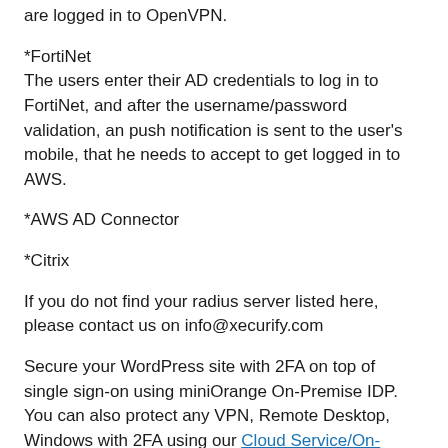are logged in to OpenVPN.
*FortiNet
The users enter their AD credentials to log in to FortiNet, and after the username/password validation, an push notification is sent to the user's mobile, that he needs to accept to get logged in to AWS.
*AWS AD Connector
*Citrix
If you do not find your radius server listed here, please contact us on info@xecurify.com
Secure your WordPress site with 2FA on top of single sign-on using miniOrange On-Premise IDP. You can also protect any VPN, Remote Desktop, Windows with 2FA using our Cloud Service/On-Premise Module